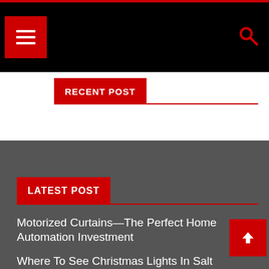Navigation bar with hamburger menu and search icon
RECENT POST
LATEST POST
Motorized Curtains—The Perfect Home Automation Investment
Where To See Christmas Lights In Salt Lake